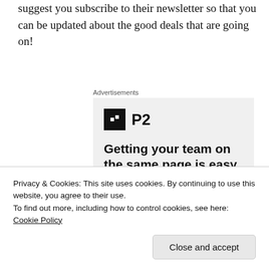suggest you subscribe to their newsletter so that you can be updated about the good deals that are going on!
[Figure (infographic): Advertisement banner for P2 product featuring logo with black square icon and 'P2' text, bold headline 'Getting your team on the same page is easy. And free.', and four circular avatar images at the bottom.]
Privacy & Cookies: This site uses cookies. By continuing to use this website, you agree to their use.
To find out more, including how to control cookies, see here: Cookie Policy